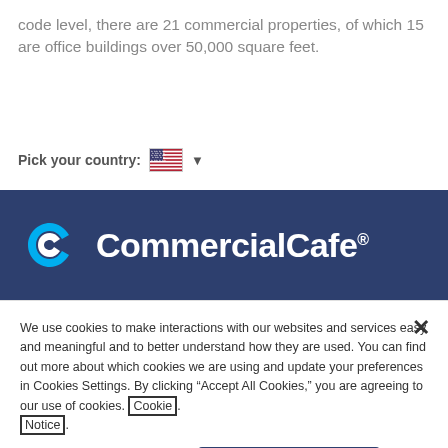code level, there are 21 commercial properties, of which 15 are office buildings over 50,000 square feet.
Pick your country:
[Figure (logo): CommercialCafe logo with cyan swirl icon and white text on dark blue banner background]
We use cookies to make interactions with our websites and services easy and meaningful and to better understand how they are used. You can find out more about which cookies we are using and update your preferences in Cookies Settings. By clicking “Accept All Cookies,” you are agreeing to our use of cookies. Cookie Notice.
Cookies Settings
Accept All Cookies